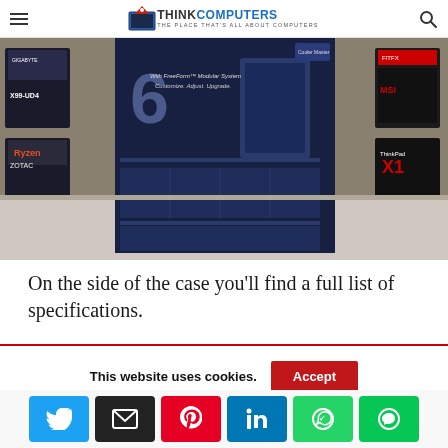ThinkComputers — The Place That's All About Computers
[Figure (photo): Back of Cooler Master MasterCase 6 computer case box, showing specifications panel and 'FreeForm Modular System' text, photographed on a shelf surrounded by other computer hardware boxes including Gigabyte X99-UD4, ZOTAC, Ryzen, ThinkPad X1, MSI, and other brands.]
On the side of the case you'll find a full list of specifications.
This website uses cookies.
[Figure (infographic): Social share buttons row: Twitter (blue), Email (black), Pinterest (red), LinkedIn (blue), WhatsApp (green), LINE (green)]